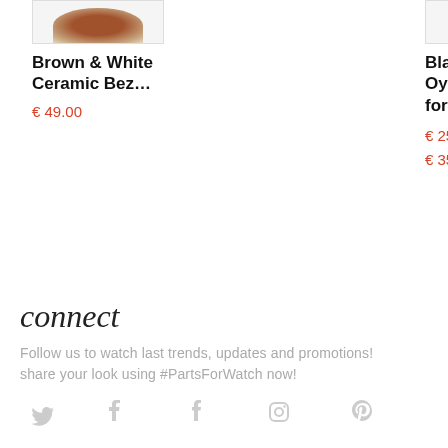[Figure (photo): Brown and white ceramic bezel watch part image thumbnail]
Brown & White Ceramic Bez...
€ 49.00
[Figure (photo): Black Easylink Oysterflex strap watch part image thumbnail]
Black Easylink Oysterflex Strap for...
€ 25.00 – € 35.00
connect
Follow us to watch last trends, updates and promotions!
share your look using #PartsForWatch now!
[Figure (infographic): Social media icons: Twitter, Facebook, Tumblr, Instagram, Pinterest]